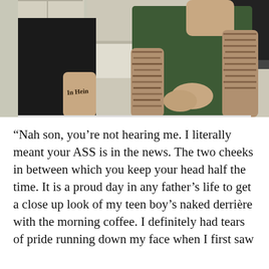[Figure (photo): Photo of two people standing in what appears to be a kitchen. The person on the left wears a black t-shirt and has a forearm tattoo reading 'In Heim'. The person on the right wears a green t-shirt and has heavily tattooed arms.]
“Nah son, you’re not hearing me. I literally meant your ASS is in the news. The two cheeks in between which you keep your head half the time. It is a proud day in any father’s life to get a close up look of my teen boy’s naked derrière with the morning coffee. I definitely had tears of pride running down my face when I first saw